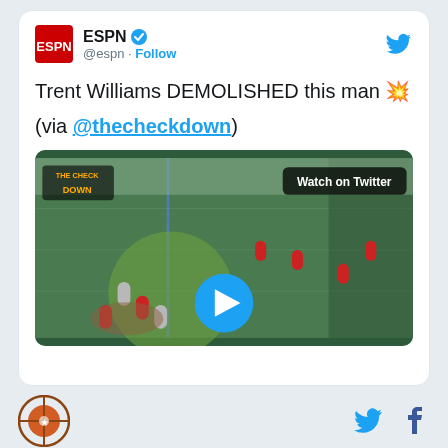[Figure (screenshot): ESPN tweet screenshot showing a video thumbnail of a football play with Trent Williams. The tweet text reads 'Trent Williams DEMOLISHED this man 💥 (via @thecheckdown)'. Video thumbnail shows a football field with players, a circular highlight area, and a Twitter play button. Watch on Twitter badge visible.]
Footer bar with site logo and Twitter/Facebook social icons